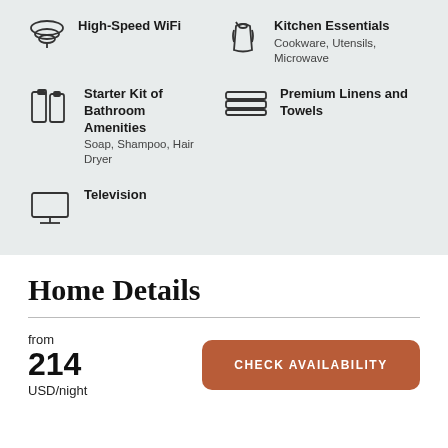High-Speed WiFi
Kitchen Essentials: Cookware, Utensils, Microwave
Starter Kit of Bathroom Amenities — Soap, Shampoo, Hair Dryer
Premium Linens and Towels
Television
Home Details
from
214
USD/night
CHECK AVAILABILITY